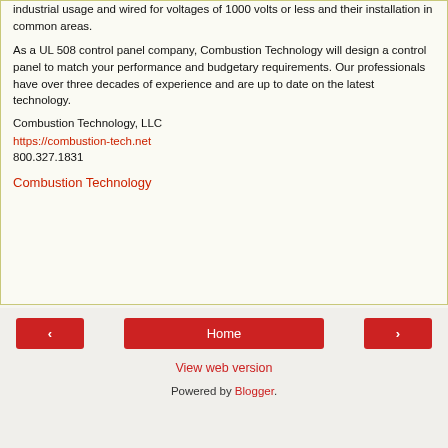industrial usage and wired for voltages of 1000 volts or less and their installation in common areas.
As a UL 508 control panel company, Combustion Technology will design a control panel to match your performance and budgetary requirements. Our professionals have over three decades of experience and are up to date on the latest technology.
Combustion Technology, LLC
https://combustion-tech.net
800.327.1831
Combustion Technology
Home | View web version | Powered by Blogger.